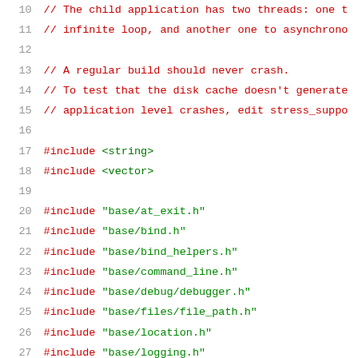Code listing showing C++ source file with line numbers 10-31, including comments about child application threads and disk cache, followed by #include directives for standard and project headers.